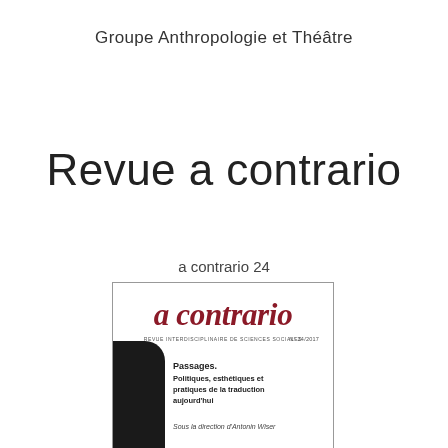Groupe Anthropologie et Théâtre
Revue a contrario
a contrario 24
[Figure (illustration): Cover image of journal 'a contrario', issue N°24/2017, showing the title in dark red italic serif font, subtitle 'Revue interdisciplinaire de sciences sociales', and the dossier title 'Passages. Politiques, esthétiques et pratiques de la traduction aujourd'hui', sous la direction d'Antonin Wiser. A black silhouette shape appears in the lower left.]